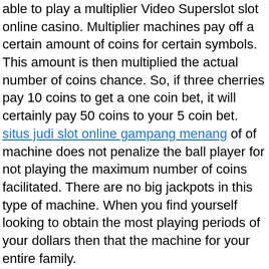able to play a multiplier Video Superslot slot online casino. Multiplier machines pay off a certain amount of coins for certain symbols. This amount is then multiplied the actual number of coins chance. So, if three cherries pay 10 coins to get a one coin bet, it will certainly pay 50 coins to your 5 coin bet. situs judi slot online gampang menang of of machine does not penalize the ball player for not playing the maximum number of coins facilitated. There are no big jackpots in this type of machine. When you find yourself looking to obtain the most playing periods of your dollars then that the machine for your entire family.
Most tournaments use play money. It wouldn't be exchanged for cash when an individual finished. Final results . of play money truth that all you stand to shed is your entry level. Every player has the